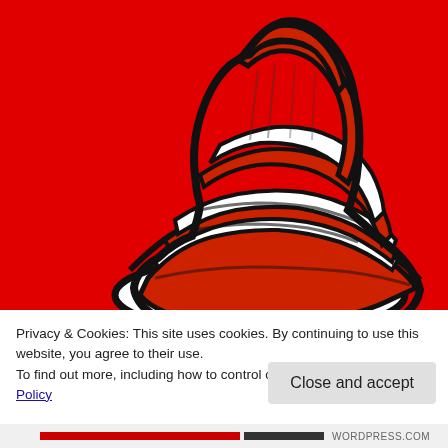[Figure (illustration): Dr. Seuss Cat in the Hat red-and-white striped tall hat illustration on a bright red background. The hat is shown tilted, with thick black outlines, white brim at the bottom, and alternating red and white horizontal stripes.]
Privacy & Cookies: This site uses cookies. By continuing to use this website, you agree to their use.
To find out more, including how to control cookies, see here: Cookie Policy
Close and accept